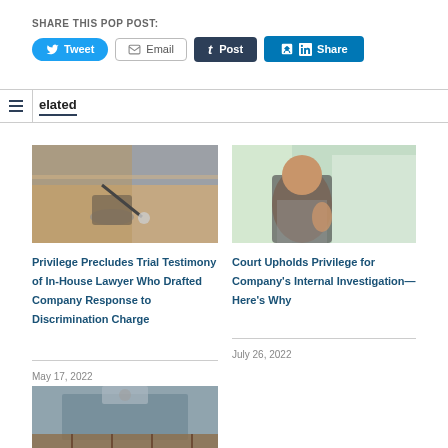SHARE THIS POP POST:
[Figure (screenshot): Social share buttons: Tweet (Twitter/blue), Email (gray border), Post (Tumblr/dark), Share (LinkedIn/blue)]
Related
[Figure (photo): Microphone on a courtroom table with chairs and bookshelves in background]
Privilege Precludes Trial Testimony of In-House Lawyer Who Drafted Company Response to Discrimination Charge
May 17, 2022
[Figure (photo): Smiling businesswoman giving thumbs up in an office setting]
Court Upholds Privilege for Company's Internal Investigation—Here's Why
July 26, 2022
[Figure (photo): Exterior view of a government or court building from below]